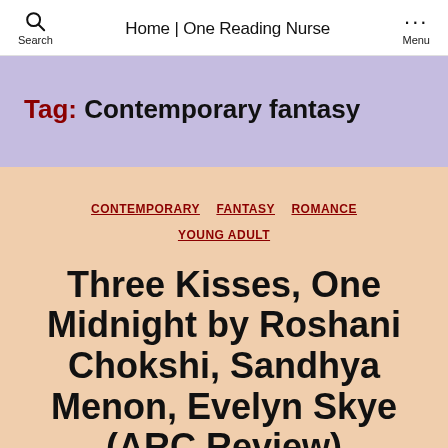Search | Home | One Reading Nurse | Menu
Tag: Contemporary fantasy
CONTEMPORARY  FANTASY  ROMANCE  YOUNG ADULT
Three Kisses, One Midnight by Roshani Chokshi, Sandhya Menon, Evelyn Skye (ARC Review)